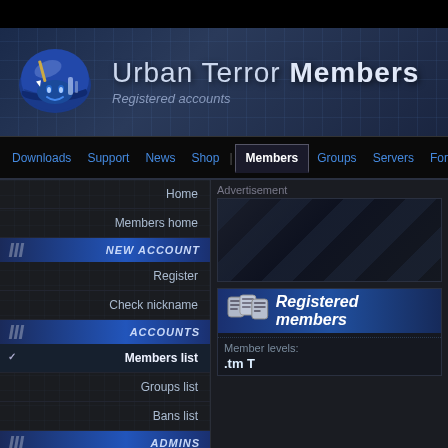[Figure (screenshot): Urban Terror Members website header with blue helmet logo]
Urban Terror Members — Registered accounts
Navigation: Downloads | Support | News | Shop | Members | Groups | Servers | Forums
Home
Members home
NEW ACCOUNT
Register
Check nickname
ACCOUNTS
Members list
Groups list
Bans list
ADMINS
Urt Staff
Advertisement
Registered members
Member levels:
.tm T